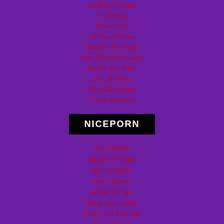LGBTQ Games
Go Hentai
Porno Surf
3D Sex Movies
Monster Sex Porn
Gay Adult Sex Game
Hentai Sex Sites
Top 3D Sites
3D Adult Games
Erotic Art Sites
[Figure (logo): NICEPORN logo black rectangle with white bold text]
NICEPORN
BRAVO TUBE
BIG VIDEO
Sex Cartoon
World 3D Sex
Adult Sex Games
Erotic Art Top 100
Nude Drawer